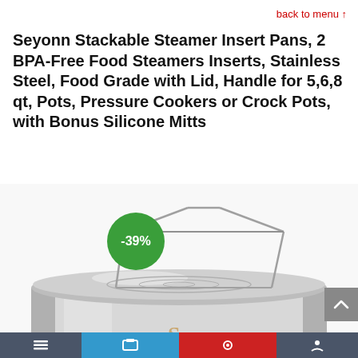back to menu ↑
Seyonn Stackable Steamer Insert Pans, 2 BPA-Free Food Steamers Inserts, Stainless Steel, Food Grade with Lid, Handle for 5,6,8 qt, Pots, Pressure Cookers or Crock Pots, with Bonus Silicone Mitts
[Figure (photo): Stainless steel stackable steamer insert pans with wire handle/rack on top, showing a circular stacked pan set with the Seyonn logo visible. A green circular badge showing -39% discount is overlaid on the upper left of the product image.]